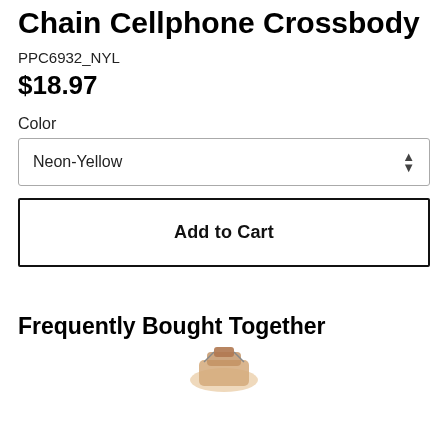Chain Cellphone Crossbody
PPC6932_NYL
$18.97
Color
Neon-Yellow
Add to Cart
Frequently Bought Together
[Figure (photo): Partial view of a product image at bottom of page]